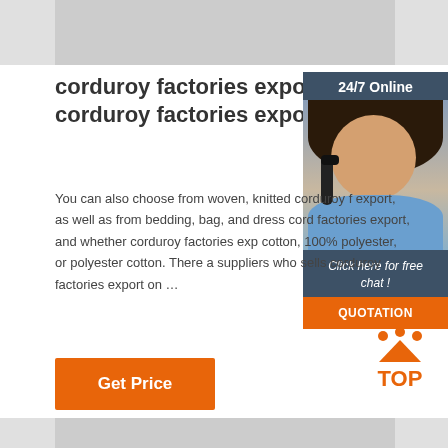[Figure (photo): Top cropped product image strip showing corduroy fabric or related product, partially visible]
corduroy factories export, corduroy factories export .
[Figure (photo): Sidebar widget with 24/7 Online label, photo of a woman with headset (customer service), Click here for free chat!, and QUOTATION button]
You can also choose from woven, knitted corduroy factories export, as well as from bedding, bag, and dress corduroy factories export, and whether corduroy factories export is cotton, 100% polyester, or polyester cotton. There are suppliers who sells corduroy factories export on ...
Get Price
[Figure (logo): Orange TOP button with upward arrow and dots, scroll-to-top icon]
[Figure (photo): Bottom cropped product image strip, partially visible]